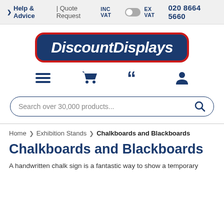Help & Advice | Quote Request  |  INC VAT  EX VAT  020 8664 5660
[Figure (logo): DiscountDisplays logo — white bold italic text on dark navy blue rounded rectangle with red border]
[Figure (infographic): Navigation icons: hamburger menu, shopping cart, quote marks, user account icon]
Search over 30,000 products...
Home > Exhibition Stands > Chalkboards and Blackboards
Chalkboards and Blackboards
A handwritten chalk sign is a fantastic way to show a temporary